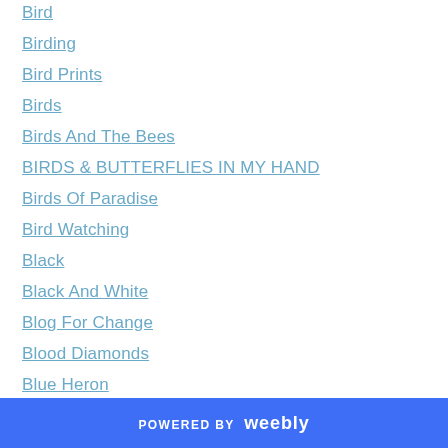Bird
Birding
Bird Prints
Birds
Birds And The Bees
BIRDS & BUTTERFLIES IN MY HAND
Birds Of Paradise
Bird Watching
Black
Black And White
Blog For Change
Blood Diamonds
Blue Heron
Book Of Hope
Boycott Diamonds
Boycott Uzbekistan
POWERED BY weebly